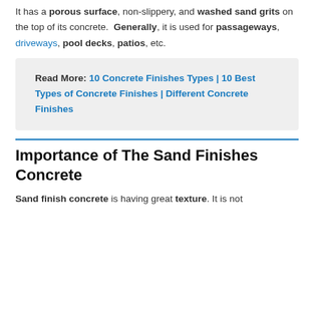It has a porous surface, non-slippery, and washed sand grits on the top of its concrete. Generally, it is used for passageways, driveways, pool decks, patios, etc.
Read More: 10 Concrete Finishes Types | 10 Best Types of Concrete Finishes | Different Concrete Finishes
Importance of The Sand Finishes Concrete
Sand finish concrete is having great texture. It is not